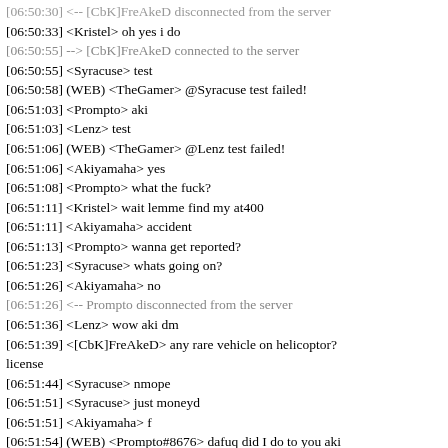[06:50:33] <Kristel> oh yes i do
[06:50:55] --> [CbK]FreAkeD connected to the server
[06:50:55] <Syracuse> test
[06:50:58] (WEB) <TheGamer> @Syracuse test failed!
[06:51:03] <Prompto> aki
[06:51:03] <Lenz> test
[06:51:06] (WEB) <TheGamer> @Lenz test failed!
[06:51:06] <Akiyamaha> yes
[06:51:08] <Prompto> what the fuck?
[06:51:11] <Kristel> wait lemme find my at400
[06:51:11] <Akiyamaha> accident
[06:51:13] <Prompto> wanna get reported?
[06:51:23] <Syracuse> whats going on?
[06:51:26] <Akiyamaha> no
[06:51:26] <-- Prompto disconnected from the server
[06:51:36] <Lenz> wow aki dm
[06:51:39] <[CbK]FreAkeD> any rare vehicle on helicoptor? license
[06:51:44] <Syracuse> nmope
[06:51:51] <Syracuse> just moneyd
[06:51:51] <Akiyamaha> f
[06:51:54] (WEB) <Prompto#8676> dafuq did I do to you aki
[06:51:56] <Kristel> hi
[06:51:59] <Akiyamaha> nothing
[06:51:59] <[CbK]FreAkeD> helicoper license is a trash then